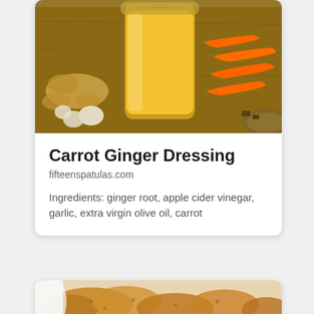[Figure (photo): A glass jar of golden carrot ginger dressing with a lid open beside it, surrounded by fresh carrots and ginger root on a wooden surface]
Carrot Ginger Dressing
fifteenspatulas.com
Ingredients: ginger root, apple cider vinegar, garlic, extra virgin olive oil, carrot
[Figure (photo): Partially visible food photo at bottom of page]